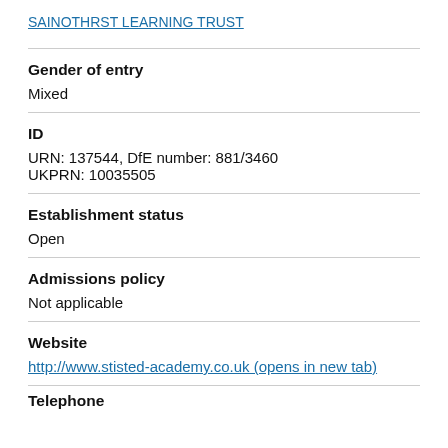SAINOTHRST LEARNING TRUST
Gender of entry
Mixed
ID
URN: 137544, DfE number: 881/3460
UKPRN: 10035505
Establishment status
Open
Admissions policy
Not applicable
Website
http://www.stisted-academy.co.uk (opens in new tab)
Telephone